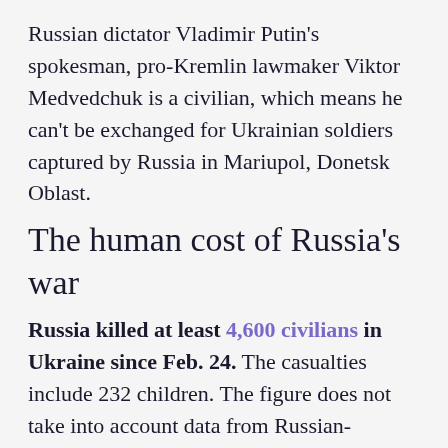Russian dictator Vladimir Putin's spokesman, pro-Kremlin lawmaker Viktor Medvedchuk is a civilian, which means he can't be exchanged for Ukrainian soldiers captured by Russia in Mariupol, Donetsk Oblast.
The human cost of Russia's war
Russia killed at least 4,600 civilians in Ukraine since Feb. 24. The casualties include 232 children. The figure does not take into account data from Russian-occupied territories, according to Prosecutor General Iryna Venediktova.